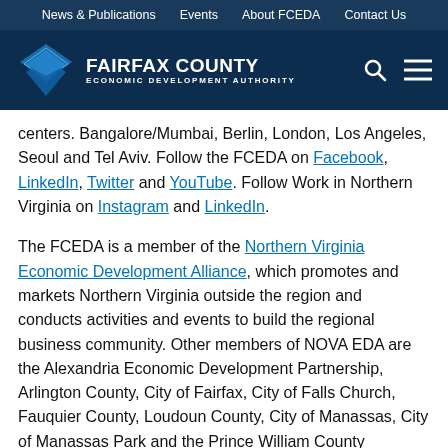News & Publications  Events  About FCEDA  Contact Us
[Figure (logo): Fairfax County Economic Development Authority logo with blue diamond shape and white text]
centers. Bangalore/Mumbai, Berlin, London, Los Angeles, Seoul and Tel Aviv. Follow the FCEDA on Facebook, LinkedIn, Twitter and YouTube. Follow Work in Northern Virginia on Instagram and LinkedIn.
The FCEDA is a member of the Northern Virginia Economic Development Alliance, which promotes and markets Northern Virginia outside the region and conducts activities and events to build the regional business community. Other members of NOVA EDA are the Alexandria Economic Development Partnership, Arlington County, City of Fairfax, City of Falls Church, Fauquier County, Loudoun County, City of Manassas, City of Manassas Park and the Prince William County